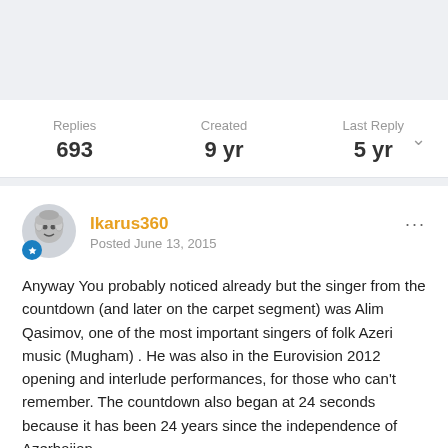Replies 693 | Created 9 yr | Last Reply 5 yr
Ikarus360
Posted June 13, 2015
Anyway You probably noticed already but the singer from the countdown (and later on the carpet segment) was Alim Qasimov, one of the most important singers of folk Azeri music (Mugham) . He was also in the Eurovision 2012 opening and interlude performances, for those who can't remember. The countdown also began at 24 seconds because it has been 24 years since the independence of Azerbaijan.
The Totally not a ripoff of Clepsydra carrousel segment was